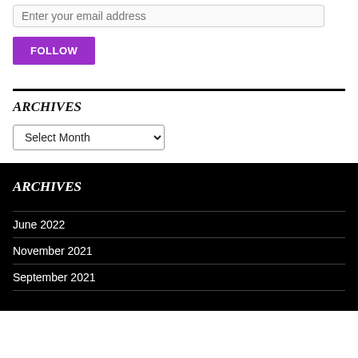Enter your email address
FOLLOW
ARCHIVES
Select Month
ARCHIVES
June 2022
November 2021
September 2021